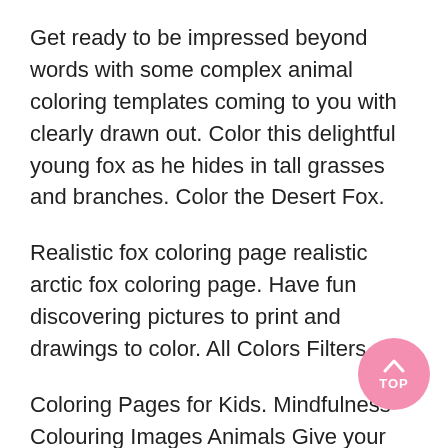Get ready to be impressed beyond words with some complex animal coloring templates coming to you with clearly drawn out. Color this delightful young fox as he hides in tall grasses and branches. Color the Desert Fox.
Realistic fox coloring page realistic arctic fox coloring page. Have fun discovering pictures to print and drawings to color. All Colors Filters.
Coloring Pages for Kids. Mindfulness Colouring Images Animals Give your children opportunities to be aware of the moment using our free animal colouring sheets. To identify a red fox look for these characteristics.
Kids can now introduce themselves to the most adorable and admirable animals from the jungle world